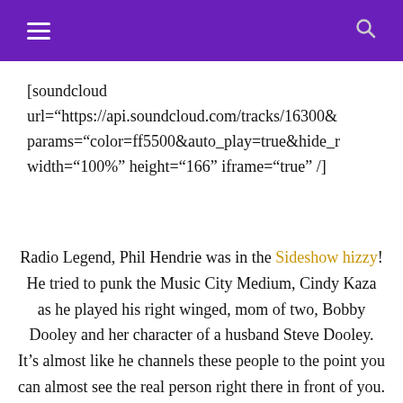navigation header with hamburger menu and search icon
[soundcloud url="https://api.soundcloud.com/tracks/16300& params="color=ff5500&auto_play=true&hide_r width="100%" height="166" iframe="true" /]
Radio Legend, Phil Hendrie was in the Sideshow hizzy! He tried to punk the Music City Medium, Cindy Kaza as he played his right winged, mom of two, Bobby Dooley and her character of a husband Steve Dooley. It's almost like he channels these people to the point you can almost see the real person right there in front of you. It's fascinating.